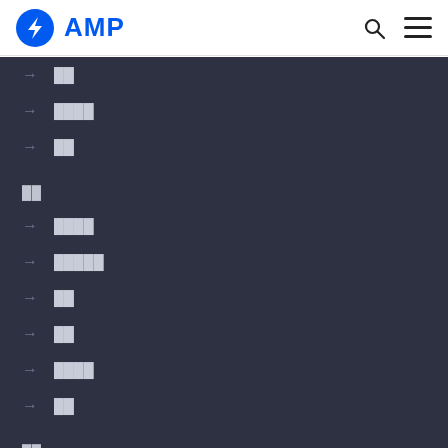AMP
→ ██
→ ████
→ ██
██
→ ████
→ █████
→ ██
→ ██
→ ████
→ ██
██
→ ██████████
→ ██